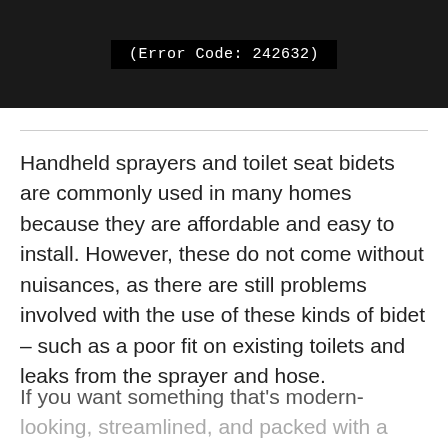[Figure (screenshot): Video player error screen showing black background with error code label: (Error Code: 242632)]
Handheld sprayers and toilet seat bidets are commonly used in many homes because they are affordable and easy to install. However, these do not come without nuisances, as there are still problems involved with the use of these kinds of bidet – such as a poor fit on existing toilets and leaks from the sprayer and hose.
If you want something that’s modern-looking, streamlined, and packed with a